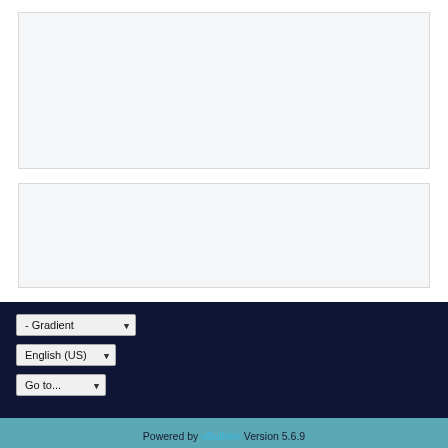[Figure (screenshot): Empty light gray content box 1]
[Figure (screenshot): Empty light gray content box 2]
[Figure (screenshot): Dark navy footer area with three dropdown selects: '- Gradient', 'English (US)', 'Go to...']
Powered by vBulletin Version 5.6.9
Copyright © 2022 MH Sub I, LLC dba vBulletin. All rights reserved.
All times are GMT-5. This page was generated at 08:09 AM.